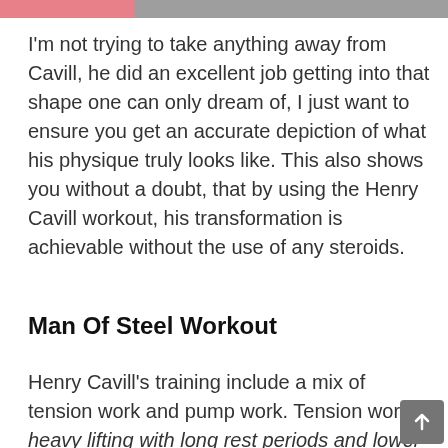I'm not trying to take anything away from Cavill, he did an excellent job getting into that shape one can only dream of, I just want to ensure you get an accurate depiction of what his physique truly looks like. This also shows you without a doubt, that by using the Henry Cavill workout, his transformation is achievable without the use of any steroids.
Man Of Steel Workout
Henry Cavill's training include a mix of tension work and pump work. Tension work is heavy lifting with long rest periods and lower repetitions, the goal is to